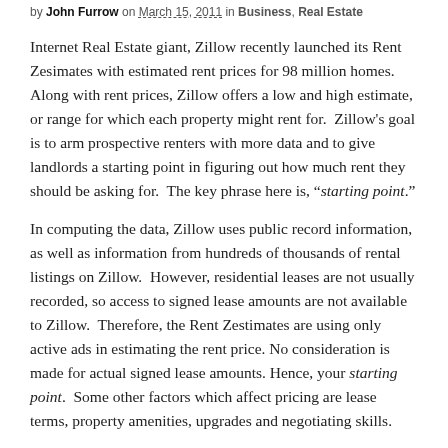by John Furrow on March 15, 2011 in Business, Real Estate
Internet Real Estate giant, Zillow recently launched its Rent Zesimates with estimated rent prices for 98 million homes. Along with rent prices, Zillow offers a low and high estimate, or range for which each property might rent for. Zillow’s goal is to arm prospective renters with more data and to give landlords a starting point in figuring out how much rent they should be asking for. The key phrase here is, “starting point.”
In computing the data, Zillow uses public record information, as well as information from hundreds of thousands of rental listings on Zillow. However, residential leases are not usually recorded, so access to signed lease amounts are not available to Zillow. Therefore, the Rent Zestimates are using only active ads in estimating the rent price. No consideration is made for actual signed lease amounts. Hence, your starting point. Some other factors which affect pricing are lease terms, property amenities, upgrades and negotiating skills.